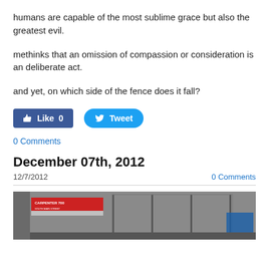humans are capable of the most sublime grace but also the greatest evil.
methinks that an omission of compassion or consideration is an deliberate act.
and yet, on which side of the fence does it fall?
[Figure (other): Facebook Like button showing 0 likes and a Twitter Tweet button]
0 Comments
December 07th, 2012
12/7/2012    0 Comments
[Figure (photo): Photograph of a storefront or transit station interior with a red sign, glass windows, and a blue screen visible in the lower right]